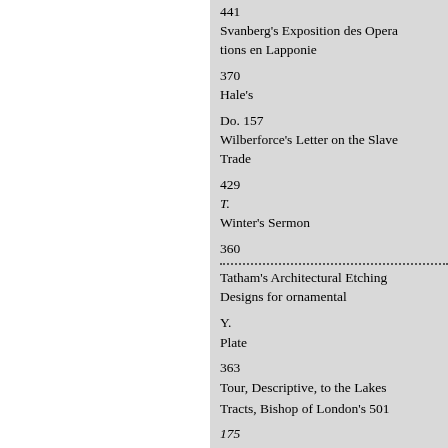441
Svanberg's Exposition des Operations en Lapponie
370
Hale's
Do. 157
Wilberforce's Letter on the Slave Trade
429
T.
Winter's Sermon
360
Tatham's Architectural Etchings Designs for ornamental
Y.
Plate
363
Tour, Descriptive, to the Lakes
Tracts, Bishop of London's 501
175
450